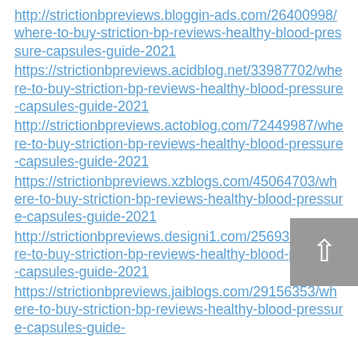http://strictionbpreviews.bloggin-ads.com/26400998/where-to-buy-striction-bp-reviews-healthy-blood-pressure-capsules-guide-2021
https://strictionbpreviews.acidblog.net/33987702/where-to-buy-striction-bp-reviews-healthy-blood-pressure-capsules-guide-2021
http://strictionbpreviews.actoblog.com/72449987/where-to-buy-striction-bp-reviews-healthy-blood-pressure-capsules-guide-2021
https://strictionbpreviews.xzblogs.com/45064703/where-to-buy-striction-bp-reviews-healthy-blood-pressure-capsules-guide-2021
http://strictionbpreviews.designi1.com/25693238/where-to-buy-striction-bp-reviews-healthy-blood-pressure-capsules-guide-2021
https://strictionbpreviews.jaiblogs.com/29156353/where-to-buy-striction-bp-reviews-healthy-blood-pressure-capsules-guide-